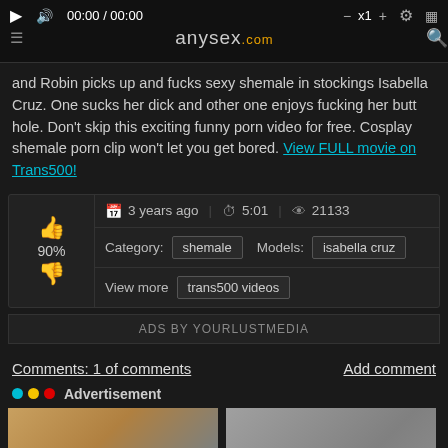[Figure (screenshot): Video player bar showing controls: play button, volume, timer 00:00/00:00, speed x1, settings, and anysex.com logo with search icon]
and Robin picks up and fucks sexy shemale in stockings Isabella Cruz. One sucks her dick and other one enjoys fucking her butt hole. Don't skip this exciting funny porn video for free. Cosplay shemale porn clip won't let you get bored. View FULL movie on Trans500!
| 3 years ago | 5:01 | 21133 |
| Category: shemale | Models: isabella cruz |  |
| View more | trans500 videos |  |
ADS BY YOURLUSTMEDIA
Comments: 1 of comments
Add comment
Advertisement
[Figure (photo): Two thumbnail images of women for advertisement]